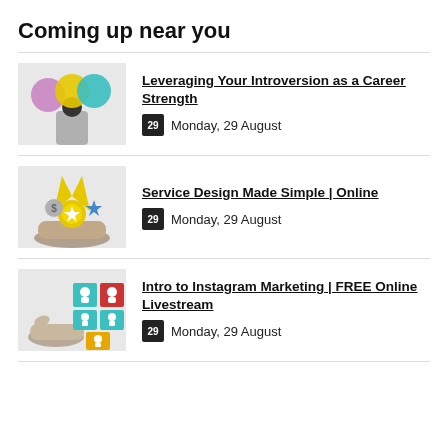Coming up near you
[Figure (illustration): Person seen from behind with three overlapping colorful circles (purple, yellow, teal) above their head]
Leveraging Your Introversion as a Career Strength
Monday, 29 August
[Figure (illustration): Hand holding a gold medal with star, dollar sign and star icons around it]
Service Design Made Simple | Online
Monday, 29 August
[Figure (illustration): Hand holding colorful tiles with person/user icons in red, teal, and yellow]
Intro to Instagram Marketing | FREE Online Livestream
Monday, 29 August